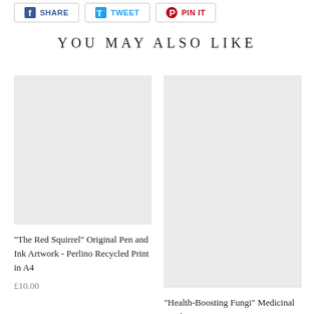[Figure (screenshot): Social share buttons row with SHARE (Facebook), TWEET (Twitter), and PIN IT (Pinterest) buttons]
YOU MAY ALSO LIKE
[Figure (photo): Empty light gray product image placeholder for The Red Squirrel print]
"The Red Squirrel" Original Pen and Ink Artwork - Perlino Recycled Print in A4
£10.00
[Figure (photo): Empty light gray product image placeholder for Health-Boosting Fungi product]
"Health-Boosting Fungi" Medicinal Mushrooms